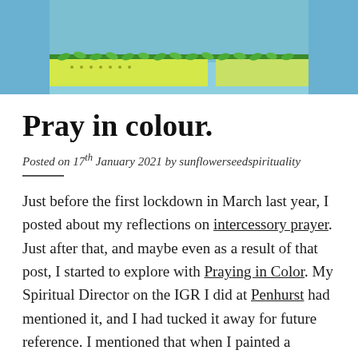[Figure (photo): Partial view of a colourful illustrated artwork with blue background, green decorative border with leaf motifs, and bright yellow-green panel with dots and patterns.]
Pray in colour.
Posted on 17th January 2021 by sunflowerseedspirituality
Just before the first lockdown in March last year, I posted about my reflections on intercessory prayer. Just after that, and maybe even as a result of that post, I started to explore with Praying in Color. My Spiritual Director on the IGR I did at Penhurst had mentioned it, and I had tucked it away for future reference. I mentioned that when I painted a mandala with